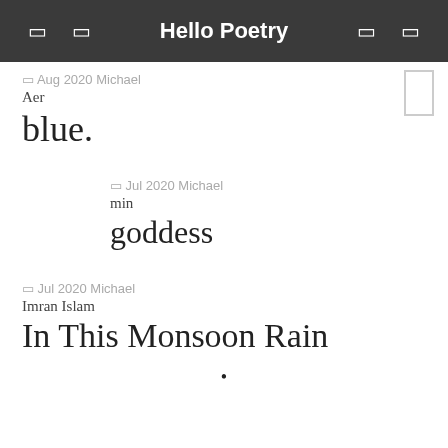Hello Poetry
◁ Aug 2020 Michael
Aer
blue.
◁ Jul 2020 Michael
min
goddess
◁ Jul 2020 Michael
Imran Islam
In This Monsoon Rain
•